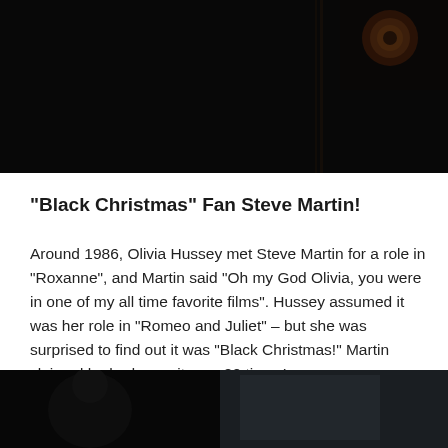[Figure (photo): Dark, moody film still showing a close-up of an eye or camera lens peeking through a dark background, top portion of page]
“Black Christmas” Fan Steve Martin!
Around 1986, Olivia Hussey met Steve Martin for a role in “Roxanne”, and Martin said “Oh my God Olivia, you were in one of my all time favorite films”. Hussey assumed it was her role in “Romeo and Juliet” – but she was surprised to find out it was “Black Christmas!” Martin claimed he had seen it over 20 times!
[Figure (photo): Dark film still showing a silhouetted figure, appearing to be from a horror movie scene, bottom portion of page]